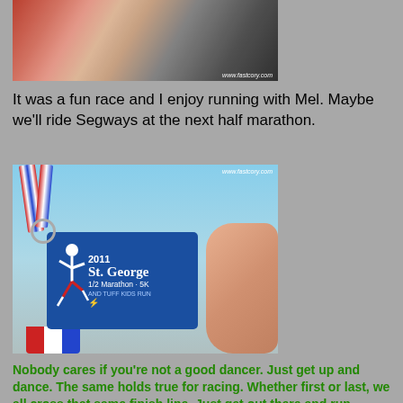[Figure (photo): Partial photo of runners at the top of the page, cropped showing torsos and legs with colorful race attire, watermark 'www.fastcory.com']
It was a fun race and I enjoy running with Mel. Maybe we'll ride Segways at the next half marathon.
[Figure (photo): Close-up photo of a hand holding a 2011 St. George 1/2 Marathon - 5K and Tuff Kids Run medal on a red/white/blue ribbon, blue medal with runner graphic, watermark 'www.fastcory.com']
Nobody cares if you're not a good dancer. Just get up and dance. The same holds true for racing. Whether first or last, we all cross that same finish line. Just get out there and run.
~ Dean Karnazes, Ultrarunner and best-selling author